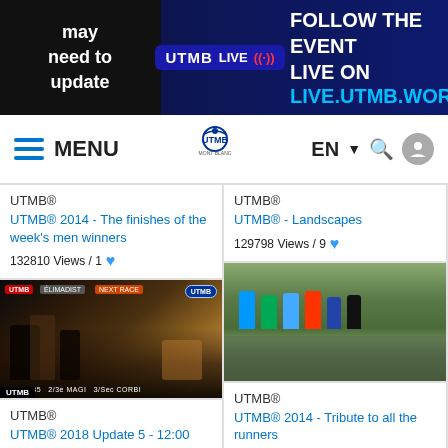[Figure (screenshot): UTMB website banner with 'may need to update' text on left, UTMB LIVE badge in center, and 'FOLLOW THE EVENT LIVE ON LIVE.UTMB.WORLD' text on right]
[Figure (screenshot): UTMB website navigation bar with hamburger menu, MENU label, UTMB Mont-Blanc logo, EN language selector, search and user icons]
UTMB®
UTMB® 2014 - The finishes of the week's men winners
132810 Views / 1
UTMB®
UTMB® - Landscapes
129798 Views / 9
[Figure (photo): Dark indoor photo showing crowd at UTMB 2014 finish line event with people and orange lighting. UTMB badge visible with race text overlay at bottom.]
[Figure (photo): Outdoor photo of trail runners in colorful rain gear walking through green alpine meadow with water reflection.]
UTMB®
UTMB® 2018 Update 5 - 12:00 PM
117858 Views / 14
UTMB®
UTMB® 2014 - Tribute to all the runners
105072 Views / 3